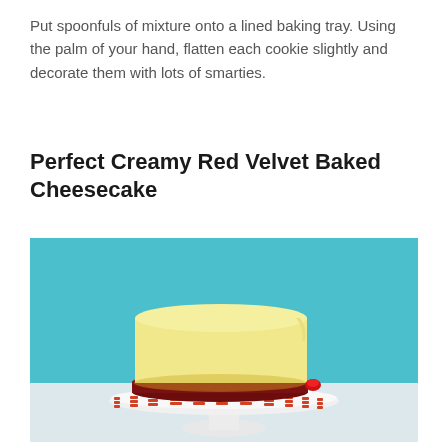Put spoonfuls of mixture onto a lined baking tray. Using the palm of your hand, flatten each cookie slightly and decorate them with lots of smarties.
Perfect Creamy Red Velvet Baked Cheesecake
[Figure (photo): A red velvet baked cheesecake with a white creamy top layer and dark red crust, sitting on a decorative white cake stand with red striped pattern, against a teal/turquoise background.]